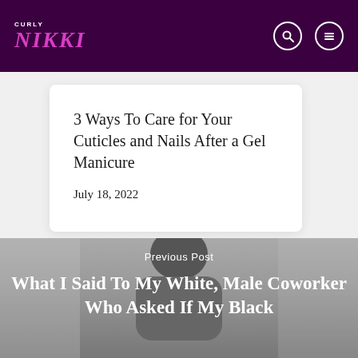CURLY NIKKI
3 Ways To Care for Your Cuticles and Nails After a Gel Manicure
July 18, 2022
[Figure (photo): Grayscale photo of a Black woman with natural hair pulled up, serving as background for the previous post section]
Previous Post
What I Said To My White, Male Coworker Who Asked If My Black